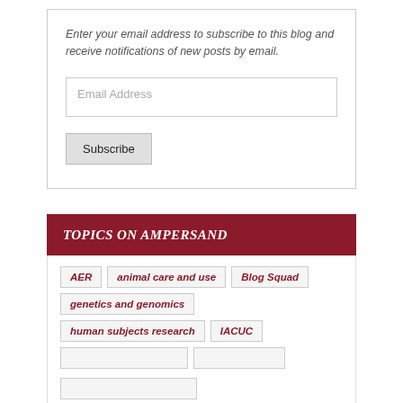Enter your email address to subscribe to this blog and receive notifications of new posts by email.
Email Address
Subscribe
TOPICS ON AMPERSAND
AER
animal care and use
Blog Squad
genetics and genomics
human subjects research
IACUC